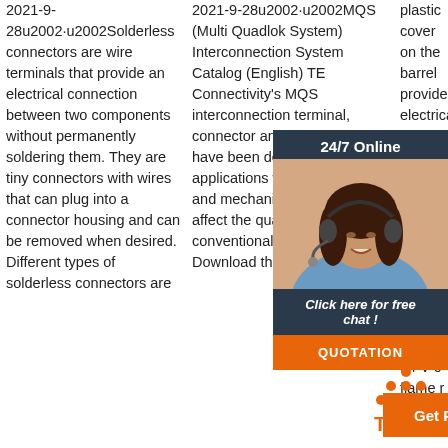2021-9-28u2002·u2002Solderless connectors are wire terminals that provide an electrical connection between two components without permanently soldering them. They are tiny connectors with wires that can plug into a connector housing and can be removed when desired. Different types of solderless connectors are
2021-9-28u2002·u2002MQS (Multi Quadlok System) Interconnection System Catalog (English) TE Connectivity's MQS interconnection terminal, connector and header system have been designed for applications where vibration and mechanical stress can affect the quality of conventional contact systems. Download the
plastic cover on the barrel provides electrical insulation rated to 600 volts. Flame-Retard... Discon... Termin... UL 94 V-0 flame r... these t... are ma... flame- self ...
[Figure (photo): Chat widget overlay with woman wearing headset, dark background, '24/7 Online' header, 'Click here for free chat!' link, and orange QUOTATION button]
Get Price
[Figure (infographic): Orange triangle 'TOP' icon in bottom right corner]